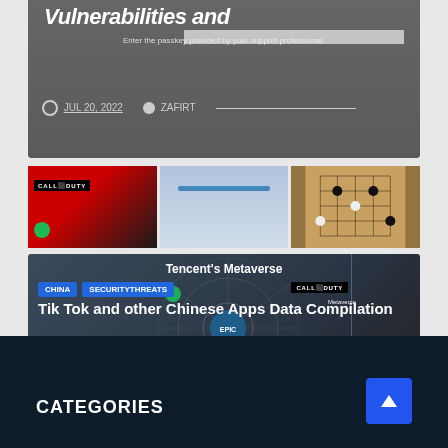[Figure (screenshot): Top card with dark gray background showing partial article title 'Vulnerabilities and' with date JUL 20, 2022 and author ZAFIRT]
JUL 20, 2022
ZAFIRT
[Figure (screenshot): Three thumbnail images in a row: Call of Duty / Spotify logo, a blue bar graphic, and a board game]
[Figure (screenshot): Main article card: Tencent's Metaverse network diagram background with tags CHINA and SECURITYTHREATS, title 'Tik Tok and other Chinese Apps Data Compilation', date JUL 11, 2022, author ZAFIRT]
CHINA
SECURITYTHREATS
Tik Tok and other Chinese Apps Data Compilation
JUL 11, 2022
ZAFIRT
CATEGORIES